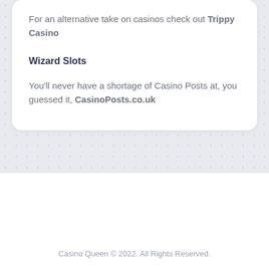For an alternative take on casinos check out Trippy Casino
Wizard Slots
You'll never have a shortage of Casino Posts at, you guessed it, CasinoPosts.co.uk
[Figure (other): Back to top chevron button]
Casino Queen © 2022. All Rights Reserved.